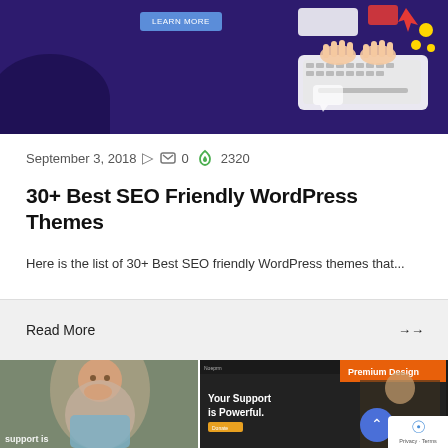[Figure (screenshot): Top banner with dark purple/indigo background, a blue 'Learn More' button, and decorative illustration of hands typing on keyboard with colorful elements on the right side]
September 3, 2018  0  2320
30+ Best SEO Friendly WordPress Themes
Here is the list of 30+ Best SEO friendly WordPress themes that...
Read More
[Figure (screenshot): Bottom section showing two images side by side: left is a photo of a child, right is a dark screenshot showing 'Your Support is Powerful.' text with a Premium Design badge in orange. A scroll-to-top button and reCAPTCHA badge are visible. Text 'support is' appears at bottom left.]